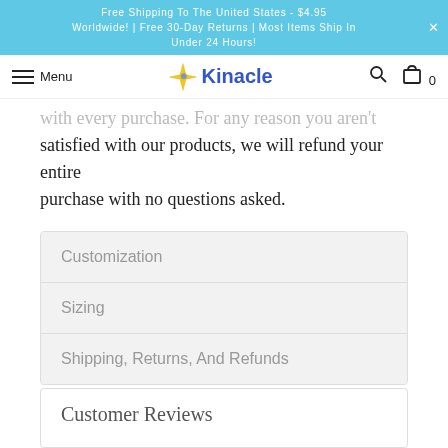Free Shipping To The United States - $4.95 Worldwide! | Free 30-Day Returns | Most Items Ship In Under 24 Hours!
[Figure (logo): Kinacle logo with four-pointed yellow star and blue text]
...with every purchase. For any reason you aren't satisfied with our products, we will refund your entire purchase with no questions asked.
Customization
Sizing
Shipping, Returns, And Refunds
[Figure (infographic): Row of social share icons: Twitter, Facebook, Pinterest, Email — each in a circular border]
Customer Reviews